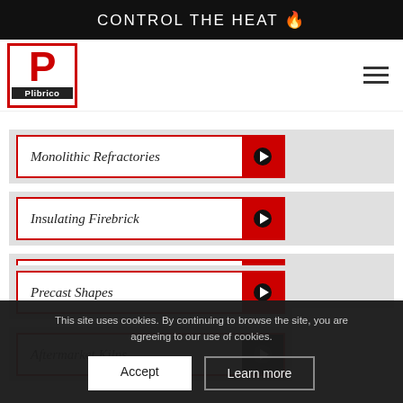CONTROL THE HEAT 🔥
[Figure (logo): Plibrico company logo — red P on white with red border and dark Plibrico label bar]
Monolithic Refractories
Insulating Firebrick
Additional Refractories
Precast Shapes
Aftermarket Kilns
This site uses cookies. By continuing to browse the site, you are agreeing to our use of cookies.
Accept  Learn more